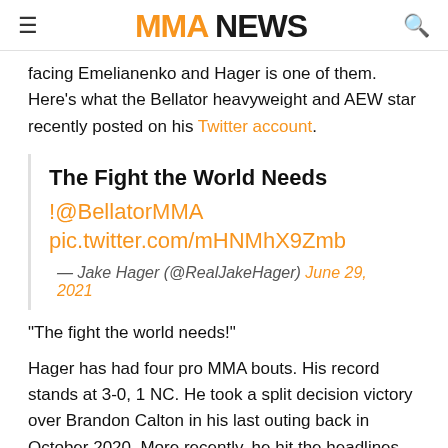MMA NEWS
facing Emelianenko and Hager is one of them. Here's what the Bellator heavyweight and AEW star recently posted on his Twitter account.
The Fight the World Needs !@BellatorMMA pic.twitter.com/mHNMhX9Zmb
— Jake Hager (@RealJakeHager) June 29, 2021
“The fight the world needs!”
Hager has had four pro MMA bouts. His record stands at 3-0, 1 NC. He took a split decision victory over Brandon Calton in his last outing back in October 2020. More recently, he hit the headlines